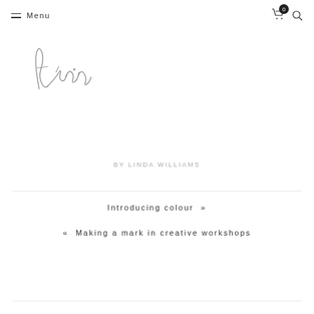Menu
[Figure (illustration): Handwritten cursive signature logo reading 'Linda' in thin pencil/ink strokes]
BY LINDA WILLIAMS
Introducing colour »
« Making a mark in creative workshops